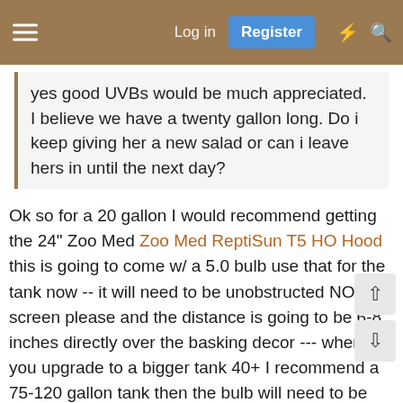Log in | Register
yes good UVBs would be much appreciated. I believe we have a twenty gallon long. Do i keep giving her a new salad or can i leave hers in until the next day?
Ok so for a 20 gallon I would recommend getting the 24" Zoo Med Zoo Med ReptiSun T5 HO Hood this is going to come w/ a 5.0 bulb use that for the tank now -- it will need to be unobstructed NO screen please and the distance is going to be 6-8 inches directly over the basking decor --- when you upgrade to a bigger tank 40+ I recommend a 75-120 gallon tank then the bulb will need to be upgraded as well - a 22" Reptisun 10.0 T 5 bulb - it will fit right into the fixture now -- Please give her fresh salads every day - rinse the greens before serving and she will most of her hydration from them -- they should get 2-3 hrs before